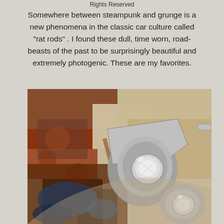Rights Reserved
Somewhere between steampunk and grunge is a new phenomena in the classic car culture called "rat rods" . I found these dull, time worn, road-beasts of the past to be surprisingly beautiful and extremely photogenic. These are my favorites.
[Figure (photo): Close-up photograph of a vintage rat rod car showing rusted, peeling paint in brown, red, and blue tones with polished chrome/silver headlight assembly and fender detail]